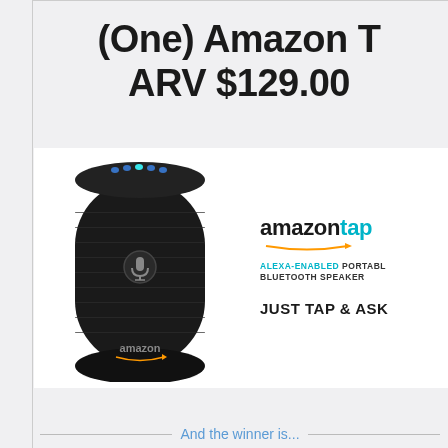(One) Amazon T ARV $129.00
[Figure (photo): Amazon Tap portable Bluetooth speaker product image. Black cylindrical speaker with fabric mesh exterior, blue LED lights on top, microphone button in the middle, and Amazon logo at the bottom. To the right: amazon tap logo with teal 'tap' text and orange arrow swoosh, 'ALEXA-ENABLED PORTABLE BLUETOOTH SPEAKER' tagline, and 'JUST TAP & ASK' text.]
And the winner is...